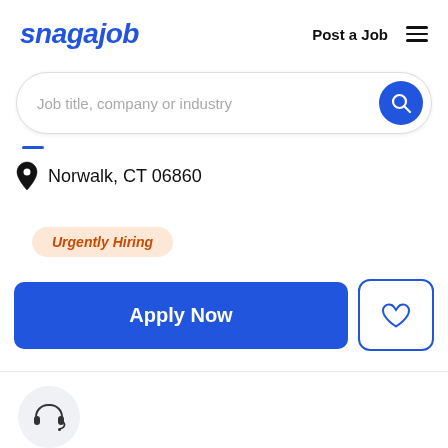snagajob | Post a Job
Job title, company or industry
Norwalk, CT 06860
Urgently Hiring
Apply Now
[Figure (other): Headset/customer service icon inside a light gray circle at bottom left]